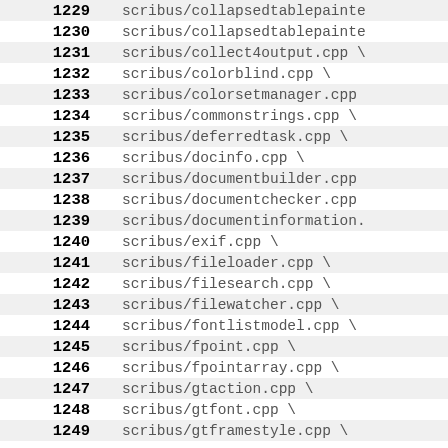| line | path |
| --- | --- |
| 1229 | scribus/collapsedtablepainte |
| 1230 | scribus/collapsedtablepainte |
| 1231 | scribus/collect4output.cpp \ |
| 1232 | scribus/colorblind.cpp \ |
| 1233 | scribus/colorsetmanager.cpp |
| 1234 | scribus/commonstrings.cpp \ |
| 1235 | scribus/deferredtask.cpp \ |
| 1236 | scribus/docinfo.cpp \ |
| 1237 | scribus/documentbuilder.cpp |
| 1238 | scribus/documentchecker.cpp |
| 1239 | scribus/documentinformation. |
| 1240 | scribus/exif.cpp \ |
| 1241 | scribus/fileloader.cpp \ |
| 1242 | scribus/filesearch.cpp \ |
| 1243 | scribus/filewatcher.cpp \ |
| 1244 | scribus/fontlistmodel.cpp \ |
| 1245 | scribus/fpoint.cpp \ |
| 1246 | scribus/fpointarray.cpp \ |
| 1247 | scribus/gtaction.cpp \ |
| 1248 | scribus/gtfont.cpp \ |
| 1249 | scribus/gtframestyle.cpp \ |